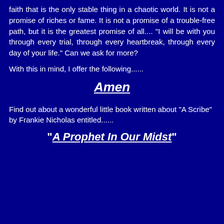faith that is the only stable thing in a chaotic world. It is not a promise of riches or fame. It is not a promise of a trouble-free path, but it is the greatest promise of all.... "I will be with you through every trial, through every heartbreak, through every day of your life." Can we ask for more?
With this in mind, I offer the following......
Amen
Find out about a wonderful little book written about "A Scribe" by Frankie Nicholas entitled......
"A Prophet In Our Midst"